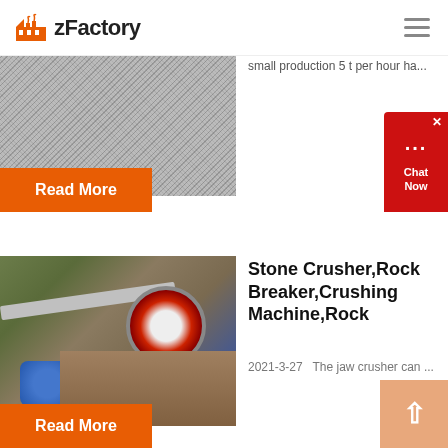zFactory
[Figure (photo): Granite or crushed stone surface texture, partially visible at top of page]
small production 5 t per hour ha...
Read More
[Figure (photo): Industrial jaw crusher / stone crusher machine with red flywheel, metal pipe, and blue motor, outdoors]
Stone Crusher,Rock Breaker,Crushing Machine,Rock
2021-3-27   The jaw crusher can ...
Read More